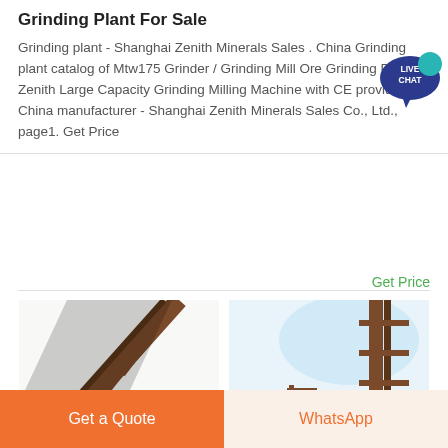Grinding Plant For Sale
Grinding plant - Shanghai Zenith Minerals Sales . China Grinding plant catalog of Mtw175 Grinder / Grinding Mill Ore Grinding Plant, Zenith Large Capacity Grinding Milling Machine with CE provided by China manufacturer - Shanghai Zenith Minerals Sales Co., Ltd., page1. Get Price
Get Price
[Figure (photo): Industrial conveyor belt structure photographed from below, showing metal framework at an angle]
[Figure (photo): Industrial structure with metal beams against a light blue sky background]